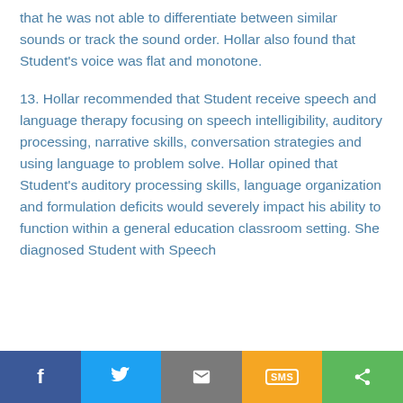that he was not able to differentiate between similar sounds or track the sound order. Hollar also found that Student's voice was flat and monotone.
13. Hollar recommended that Student receive speech and language therapy focusing on speech intelligibility, auditory processing, narrative skills, conversation strategies and using language to problem solve. Hollar opined that Student's auditory processing skills, language organization and formulation deficits would severely impact his ability to function within a general education classroom setting. She diagnosed Student with Speech
Social sharing bar with Facebook, Twitter, Email, SMS, Share buttons